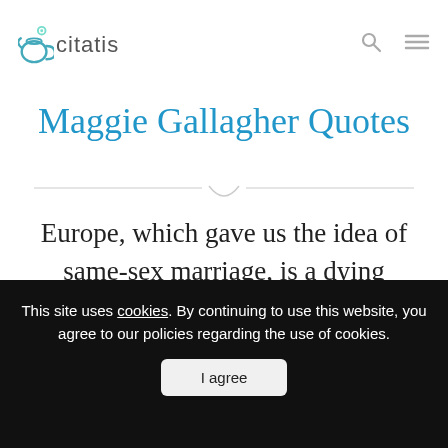citatis
Maggie Gallagher Quotes
Europe, which gave us the idea of same-sex marriage, is a dying society, with birthrates 50 percent below replacement.
This site uses cookies. By continuing to use this website, you agree to our policies regarding the use of cookies.